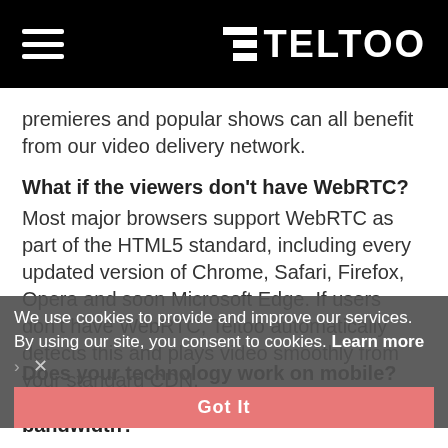TELTOO (with hamburger menu icon)
premieres and popular shows can all benefit from our video delivery network.
What if the viewers don't have WebRTC?
Most major browsers support WebRTC as part of the HTML5 standard, including every updated version of Chrome, Safari, Firefox, Opera and soon Microsoft Edge. If users don't have WebRTC, Teltoo automatically detects this and plays video smoothly from your standard CDN.
We use cookies to provide and improve our services. By using our site, you consent to cookies. Learn more
Does your technology work on mobile? Will I overload my mobile viewers' upload bandwidth?
Yes, mobile devices will benefit from Teltoo's